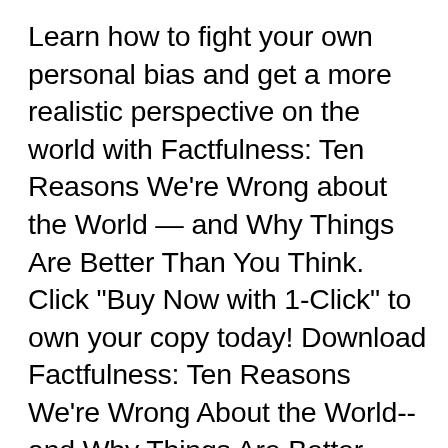Learn how to fight your own personal bias and get a more realistic perspective on the world with Factfulness: Ten Reasons We're Wrong about the World — and Why Things Are Better Than You Think. Click "Buy Now with 1-Click" to own your copy today! Download Factfulness: Ten Reasons We're Wrong About the World--and Why Things Are Better Than You Think Free Books . 2000-9-11 . Read books online Factfulness: Ten Reasons We're Wrong About the World--and Why Things Are Better Than You Think. Tough house medical equipment, also referred to as home medical gear or HME, is a medical care piece of equipment that facilitates